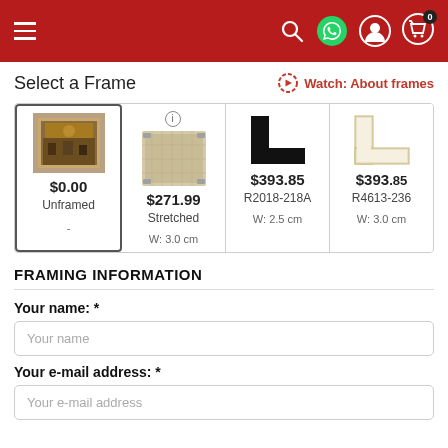Navigation header with menu, search, WhatsApp, account, and cart icons
Select a Frame
Watch: About frames
[Figure (screenshot): Frame selection options: Unframed ($0.00), Stretched ($271.99, W: 3.0 cm), R2018-218A ($393.85, W: 2.5 cm), R4613-236 ($393.85, W: 3.0 cm)]
FRAMING INFORMATION
Your name: *
Your e-mail address: *